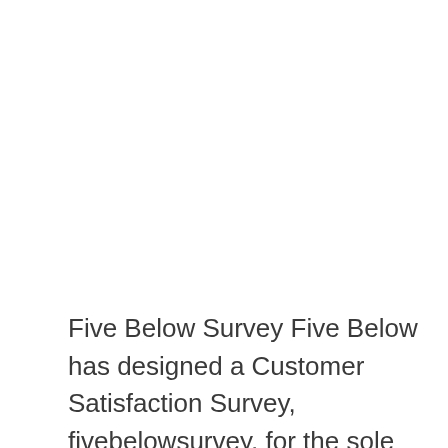Five Below Survey Five Below has designed a Customer Satisfaction Survey, fivebelowsurvey, for the sole purpose of gathering valuable customer …